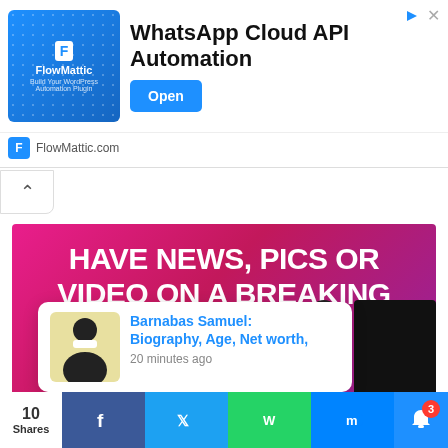[Figure (screenshot): FlowMattic WhatsApp Cloud API Automation advertisement banner with logo, title, and Open button]
[Figure (infographic): Magenta/pink background with bold white text reading HAVE NEWS, PICS OR VIDEO ON A BREAKING NEWS STORY? with a popup card showing Barnabas Samuel biography link and social share buttons at bottom]